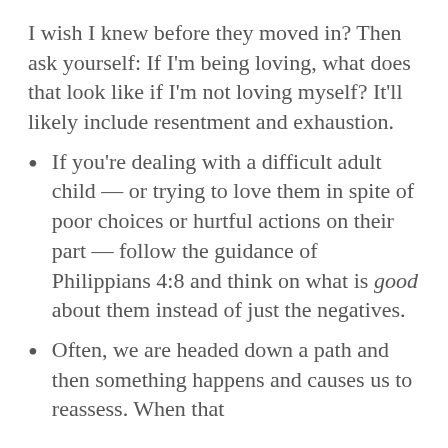I wish I knew before they moved in? Then ask yourself: If I'm being loving, what does that look like if I'm not loving myself? It'll likely include resentment and exhaustion.
If you're dealing with a difficult adult child — or trying to love them in spite of poor choices or hurtful actions on their part — follow the guidance of Philippians 4:8 and think on what is good about them instead of just the negatives.
Often, we are headed down a path and then something happens and causes us to reassess. When that